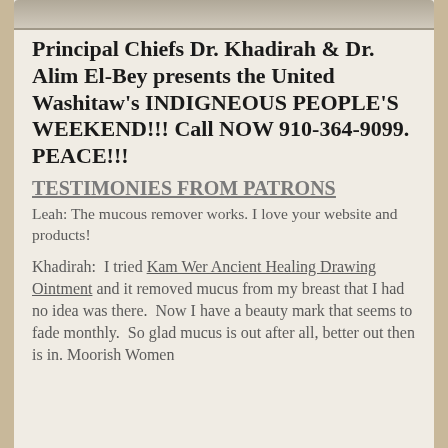Principal Chiefs Dr. Khadirah & Dr. Alim El-Bey presents the United Washitaw's INDIGNEOUS PEOPLE'S WEEKEND!!! Call NOW 910-364-9099. PEACE!!!
TESTIMONIES FROM PATRONS
Leah: The mucous remover works. I love your website and products!
Khadirah:  I tried Kam Wer Ancient Healing Drawing Ointment and it removed mucus from my breast that I had no idea was there.  Now I have a beauty mark that seems to fade monthly.  So glad mucus is out after all, better out then is in. Moorish Women